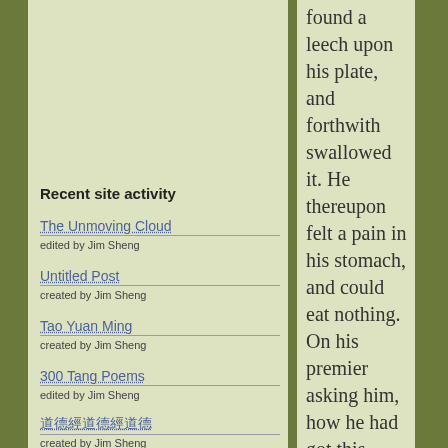found a leech upon his plate, and forthwith swallowed it. He thereupon felt a pain in his stomach, and could eat nothing. On his premier asking him, how he had got this disease, he replied: — "Eating salad, I found a leech, I thought that, if I scolded those responsible for it, but did not punish them, I would disregard the law, and not keep up my dignity. Therefore, I could not allow my
Recent site activity
The Unmoving Cloud
edited by Jim Sheng
Untitled Post
created by Jim Sheng
Tao Yuan Ming
created by Jim Sheng
300 Tang Poems
edited by Jim Sheng
道德經 (or similar)
created by Jim Sheng